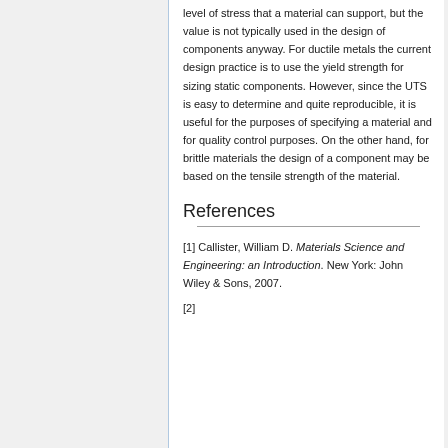level of stress that a material can support, but the value is not typically used in the design of components anyway. For ductile metals the current design practice is to use the yield strength for sizing static components. However, since the UTS is easy to determine and quite reproducible, it is useful for the purposes of specifying a material and for quality control purposes. On the other hand, for brittle materials the design of a component may be based on the tensile strength of the material.
References
[1] Callister, William D. Materials Science and Engineering: an Introduction. New York: John Wiley & Sons, 2007.
[2]